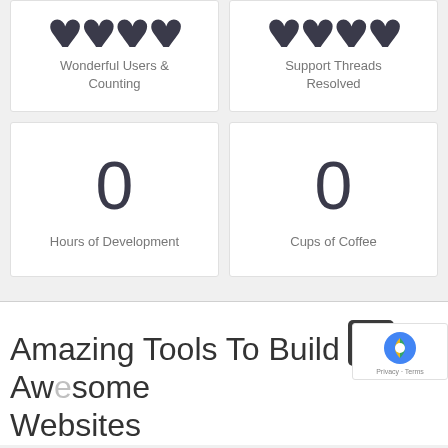Wonderful Users & Counting
Support Threads Resolved
0
Hours of Development
0
Cups of Coffee
Amazing Tools To Build Awesome Websites